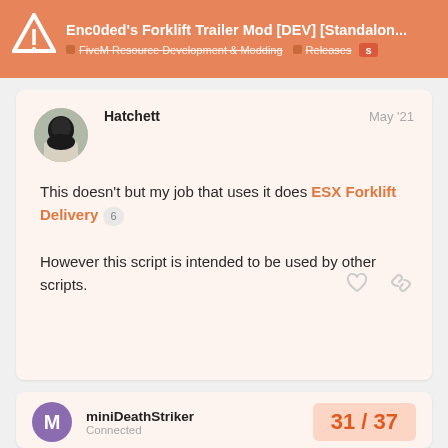Enc0ded's Forklift Trailer Mod [DEV] [Standalone... | FiveM Resource Development & Modding | Releases | S
This doesn't but my job that uses it does ESX Forklift Delivery 6

However this script is intended to be used by other scripts.
miniDeathStriker
Connected
31 / 37